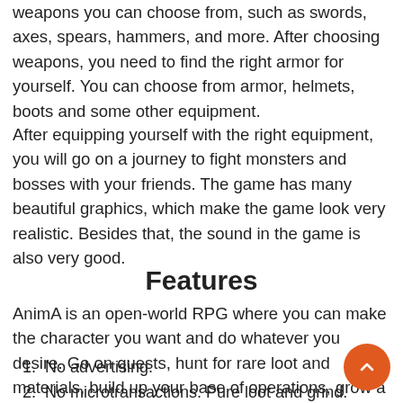weapons you can choose from, such as swords, axes, spears, hammers, and more. After choosing weapons, you need to find the right armor for yourself. You can choose from armor, helmets, boots and some other equipment.
After equipping yourself with the right equipment, you will go on a journey to fight monsters and bosses with your friends. The game has many beautiful graphics, which make the game look very realistic. Besides that, the sound in the game is also very good.
Features
AnimA is an open-world RPG where you can make the character you want and do whatever you desire. Go on quests, hunt for rare loot and materials, build up your base of operations, grow a farm, and create alliances with other players. The world is truly yours to shape.
No advertising.
No microtransactions. Pure loot and grind.
Randomly generated open world.